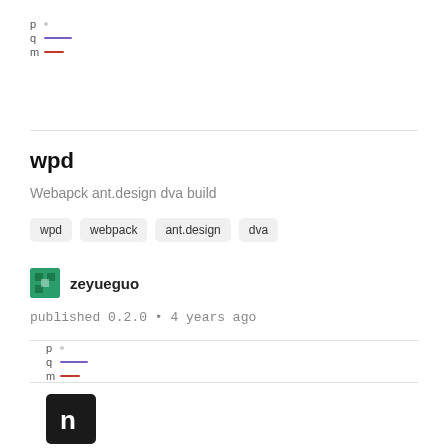[Figure (other): Package popularity legend with p/q/m labels and colored lines (purple and red)]
wpd
Webapck ant.design dva build
wpd   webpack   ant.design   dva
zeyueguo
published 0.2.0 • 4 years ago
[Figure (other): Package popularity legend with p/q/m labels and colored lines (purple and red)]
[Figure (logo): npm logo - dark square with white 'n' letter]